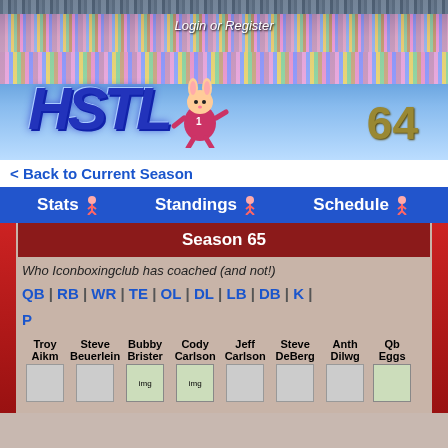Login or Register
[Figure (illustration): HSTL 64 retro football video game logo with stadium crowd background and cartoon mascot]
< Back to Current Season
Stats | Standings | Schedule
Season 65
Who Iconboxingclub has coached (and not!)
QB | RB | WR | TE | OL | DL | LB | DB | K | P
Troy Aikman | Steve Beuerlein | Bubby Brister | Cody Carlson | Jeff Carlson | Steve DeBerg | Anthony Dilweg | Qb Eggs